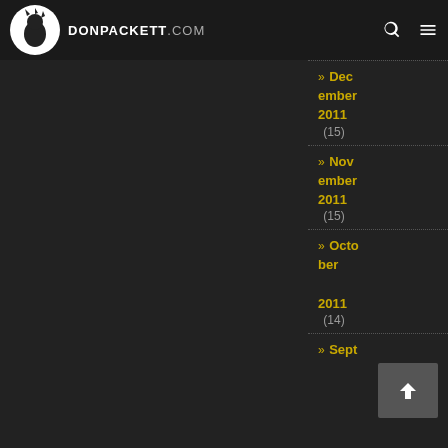DONPACKETT.COM
» December 2011 (15)
» November 2011 (15)
» October 2011 (14)
» September